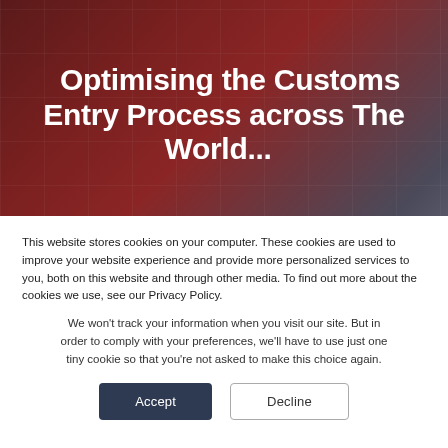[Figure (photo): Hero background image showing a dark red/maroon world map with grid lines overlay and a person wearing a hard hat visible on the right side]
Optimising the Customs Entry Process across The World...
This website stores cookies on your computer. These cookies are used to improve your website experience and provide more personalized services to you, both on this website and through other media. To find out more about the cookies we use, see our Privacy Policy.
We won't track your information when you visit our site. But in order to comply with your preferences, we'll have to use just one tiny cookie so that you're not asked to make this choice again.